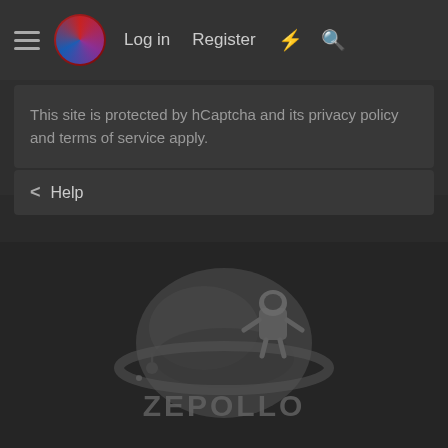Log in  Register
This site is protected by hCaptcha and its privacy policy and terms of service apply.
< Help
[Figure (logo): Zepollo website logo — an astronaut robot riding near a ringed planet, with text ZEPOLLO below, rendered in grayscale]